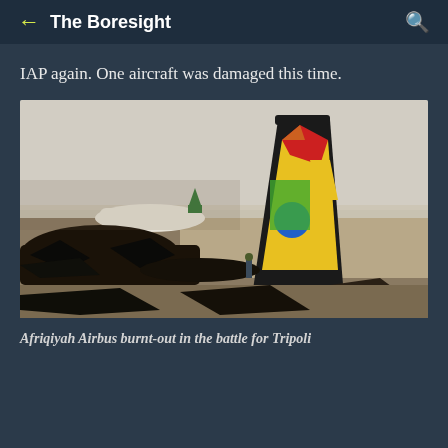The Boresight
IAP again. One aircraft was damaged this time.
[Figure (photo): Burnt-out Afriqiyah Airbus aircraft on an airport tarmac, with a colorful tail section (green, yellow, red, blue markings) still standing amid burnt wreckage and debris. A second aircraft with green/white livery is visible in the background. A person stands near the tail. Hazy sky in background.]
Afriqiyah Airbus burnt-out in the battle for Tripoli